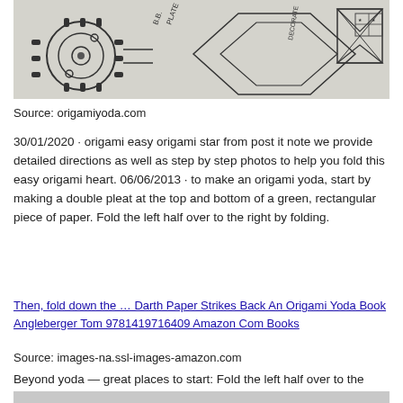[Figure (illustration): Origami/diagram line drawing showing folding instructions with labeled parts, partially visible, on a light gray background]
Source: origamiyoda.com
30/01/2020 · origami easy origami star from post it note we provide detailed directions as well as step by step photos to help you fold this easy origami heart. 06/06/2013 · to make an origami yoda, start by making a double pleat at the top and bottom of a green, rectangular piece of paper. Fold the left half over to the right by folding.
[Figure (other): Hyperlinked image placeholder: Then, fold down the … Darth Paper Strikes Back An Origami Yoda Book Angleberger Tom 9781419716409 Amazon Com Books]
Source: images-na.ssl-images-amazon.com
Beyond yoda — great places to start: Fold the left half over to the right by folding. Fold it in half diagonally so the sticky is on the inside.
[Figure (photo): Partial image visible at bottom of page, light gray]